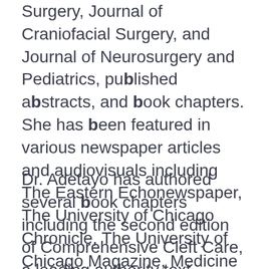Surgery, Journal of Craniofacial Surgery, and Journal of Neurosurgery and Pediatrics, published abstracts, and book chapters. She has been featured in various newspaper articles and audiovisuals including The Eastern Echonewspaper, The University of Chicago Chronicle, The University of Chicago Magazine, Medicine on the Midway, Albany Med Today, and Times Union Newspaper.
Dr. Adetayo has authored several book chapters including the second edition of Comprehensive Cleft Care, a leading authority text volume on cleft and